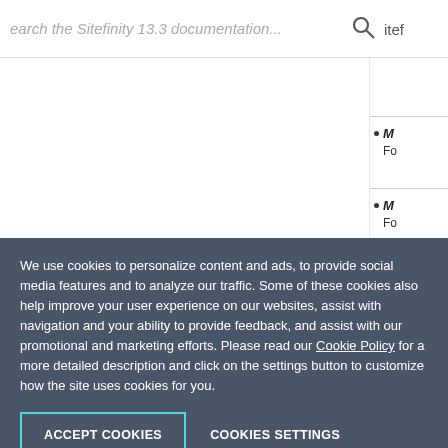Search the Sitefinity 13.3 documentation...
M
Fo
M
Fo
We use cookies to personalize content and ads, to provide social media features and to analyze our traffic. Some of these cookies also help improve your user experience on our websites, assist with navigation and your ability to provide feedback, and assist with our promotional and marketing efforts. Please read our Cookie Policy for a more detailed description and click on the settings button to customize how the site uses cookies for you.
ACCEPT COOKIES    COOKIES SETTINGS